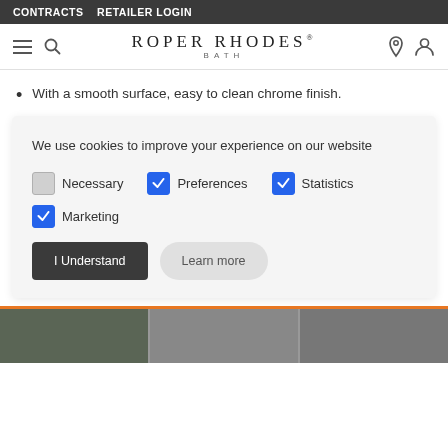CONTRACTS   RETAILER LOGIN
[Figure (logo): Roper Rhodes Bath logo with navigation icons (hamburger menu, search, location pin, user account)]
With a smooth surface, easy to clean chrome finish.
We use cookies to improve your experience on our website
Necessary  Preferences  Statistics  Marketing (checkboxes)
I Understand   Learn more (buttons)